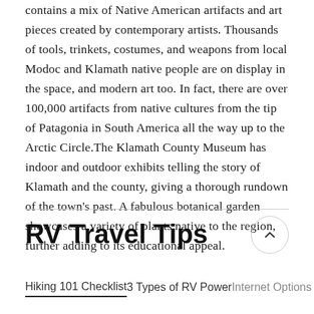relics and antiques while touring the spacious Favell Museum contains a mix of Native American artifacts and art pieces created by contemporary artists. Thousands of tools, trinkets, costumes, and weapons from local Modoc and Klamath native people are on display in the space, and modern art too. In fact, there are over 100,000 artifacts from native cultures from the tip of Patagonia in South America all the way up to the Arctic Circle.The Klamath County Museum has indoor and outdoor exhibits telling the story of Klamath and the county, giving a thorough rundown of the town's past. A fabulous botanical garden showcases a variety of plants native to the region, further adding to its educational appeal.
RV Travel Tips
Hiking 101 Checklist
3 Types of RV Power
Internet Options f...